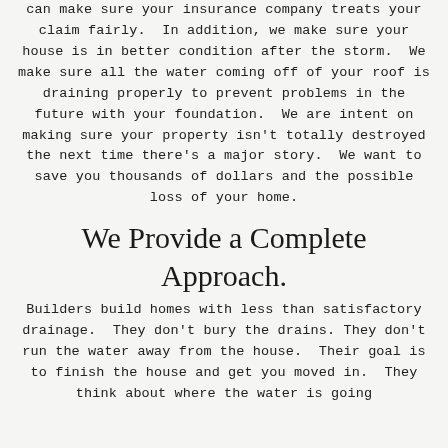can make sure your insurance company treats your claim fairly.  In addition, we make sure your house is in better condition after the storm.  We make sure all the water coming off of your roof is draining properly to prevent problems in the future with your foundation.  We are intent on making sure your property isn't totally destroyed the next time there's a major story.  We want to save you thousands of dollars and the possible loss of your home.
We Provide a Complete Approach.
Builders build homes with less than satisfactory drainage.  They don't bury the drains. They don't run the water away from the house.  Their goal is to finish the house and get you moved in.  They think about where the water is going